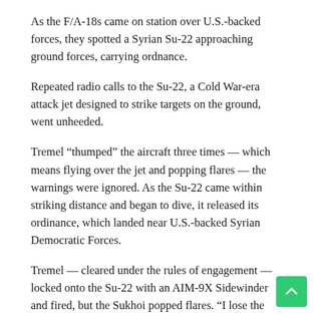As the F/A-18s came on station over U.S.-backed forces, they spotted a Syrian Su-22 approaching ground forces, carrying ordnance.
Repeated radio calls to the Su-22, a Cold War-era attack jet designed to strike targets on the ground, went unheeded.
Tremel “thumped” the aircraft three times — which means flying over the jet and popping flares — the warnings were ignored. As the Su-22 came within striking distance and began to dive, it released its ordinance, which landed near U.S.-backed Syrian Democratic Forces.
Tremel — cleared under the rules of engagement — locked onto the Su-22 with an AIM-9X Sidewinder and fired, but the Sukhoi popped flares. “I lose the smoke trail and I have no idea what happened at that time,” Tremel said at the symposium. Despite the venerable Sidewinder’s rep as a highly advanced piece of ordnance, the infrared-guided missile was drawn away by flares.
The enemy bird was still in the air and still a threat to friendly forces on the ground, so it was time to “try something different,” Tremel recounted.